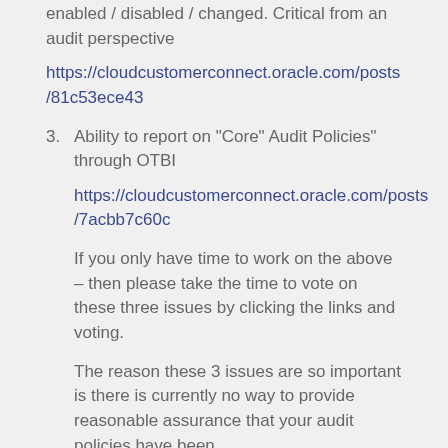enabled / disabled / changed. Critical from an audit perspective
https://cloudcustomerconnect.oracle.com/posts/81c53ece43
3. Ability to report on "Core" Audit Policies" through OTBI
https://cloudcustomerconnect.oracle.com/posts/7acbb7c60c
If you only have time to work on the above – then please take the time to vote on these three issues by clicking the links and voting.
The reason these 3 issues are so important is there is currently no way to provide reasonable assurance that your audit policies have been